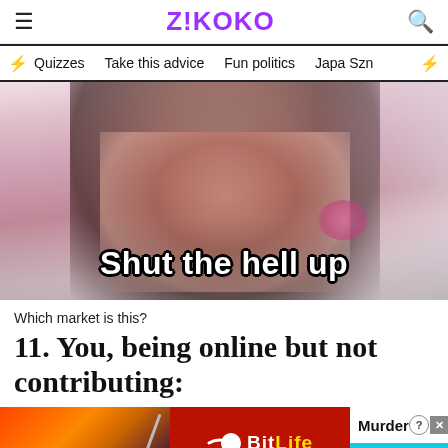Z!KOKO
Quizzes   Take this advice   Fun politics   Japa Szn
[Figure (photo): Woman with hands raised making an expressive face, with text overlay reading 'Shut the hell up']
Which market is this?
11. You, being online but not contributing:
[Figure (screenshot): BitLife advertisement banner with Murder / Do it! call to action]